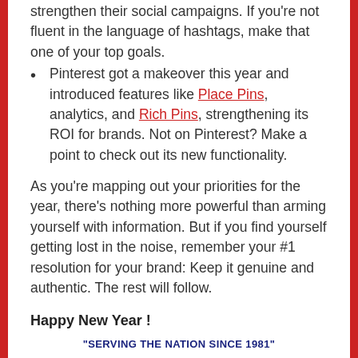strengthen their social campaigns. If you're not fluent in the language of hashtags, make that one of your top goals.
Pinterest got a makeover this year and introduced features like Place Pins, analytics, and Rich Pins, strengthening its ROI for brands. Not on Pinterest? Make a point to check out its new functionality.
As you're mapping out your priorities for the year, there's nothing more powerful than arming yourself with information. But if you find yourself getting lost in the noise, remember your #1 resolution for your brand: Keep it genuine and authentic. The rest will follow.
Happy New Year !
"SERVING THE NATION SINCE 1981"